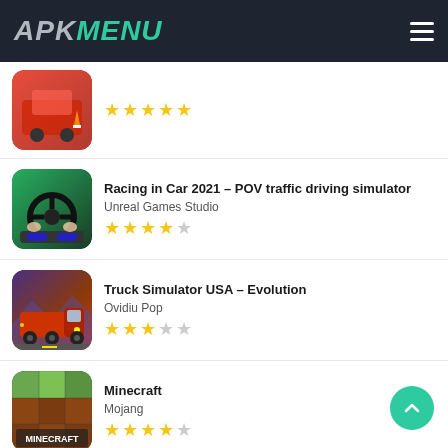[Figure (logo): APK MENU logo on dark header with hamburger menu icon]
Racing in Car 2021 – POV traffic driving simulator
Unreal Games Studio
4 stars out of 5
Truck Simulator USA – Evolution
Ovidiu Pop
3 stars out of 5
Minecraft
Mojang
4 stars out of 5
European Luxury Cars
DMNK Studio